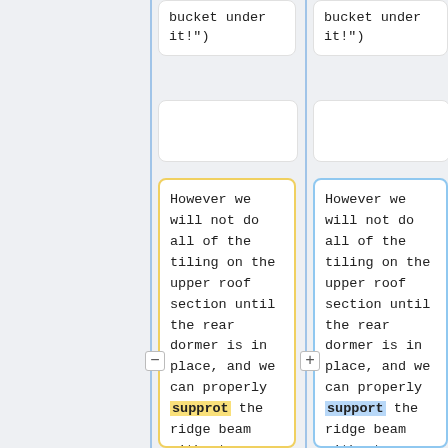bucket under it!")
bucket under it!")
However we will not do all of the tiling on the upper roof section until the rear dormer is in place, and we can properly supprot the ridge beam without needing the balancing force from the rear
However we will not do all of the tiling on the upper roof section until the rear dormer is in place, and we can properly support the ridge beam without needing the balancing force from the rear